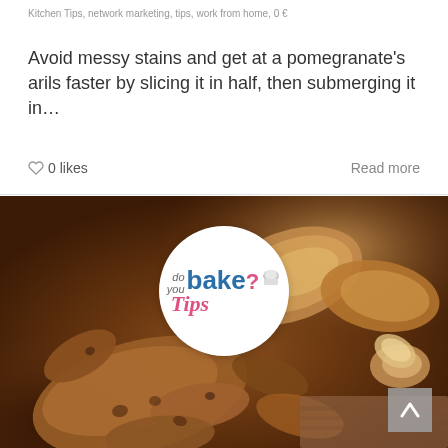Kitchen Tips, network marketing, tips, work from home, 0
Avoid messy stains and get at a pomegranate’s arils faster by slicing it in half, then submerging it in…
0 likes
Read more
[Figure (photo): Photo of ginger root pieces on a wooden surface with a 'do you bake? Tips' logo overlay in a white circle, and a back-to-top arrow button in the bottom right corner]